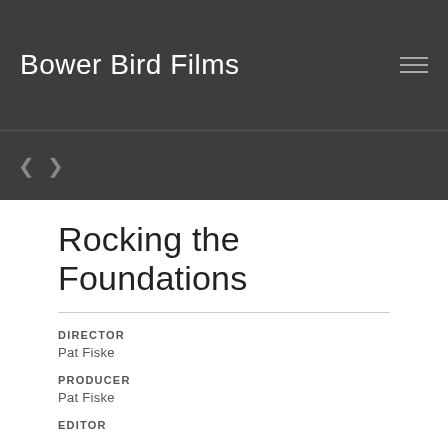Bower Bird Films
Rocking the Foundations
DIRECTOR
Pat Fiske
PRODUCER
Pat Fiske
EDITOR